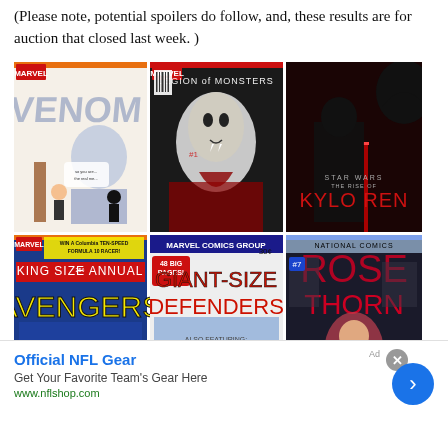(Please note, potential spoilers do follow, and, these results are for auction that closed last week. )
[Figure (illustration): Grid of comic book covers: top row left - Venom (Marvel, cartoon style with small characters and ladder), top row center - Legion of Monsters #1 (Marvel, vampire/monster cover), top row right - Star Wars: The Rise of Kylo Ren (dark sci-fi cover with lightsaber); bottom row left - King Size Annual Avengers (Marvel, win a Columbia ten-speed formula 10 racer), bottom row center - Giant-Size Defenders (Marvel Comics Group, 48 big pages), bottom row right - Rose & Thorn (National Comics, DC)]
[Figure (infographic): Advertisement for Official NFL Gear with close button (X), arrow button (>), title 'Official NFL Gear', description 'Get Your Favorite Team's Gear Here', URL 'www.nflshop.com']